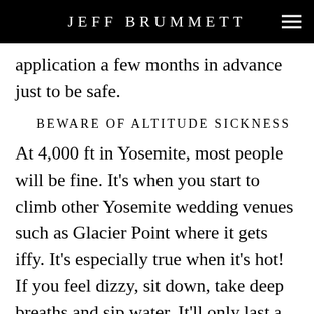JEFF BRUMMETT
application a few months in advance just to be safe.
BEWARE OF ALTITUDE SICKNESS
At 4,000 ft in Yosemite, most people will be fine. It's when you start to climb other Yosemite wedding venues such as Glacier Point where it gets iffy. It's especially true when it's hot! If you feel dizzy, sit down, take deep breaths and sip water. It'll only last a few minutes and you'll be fine.